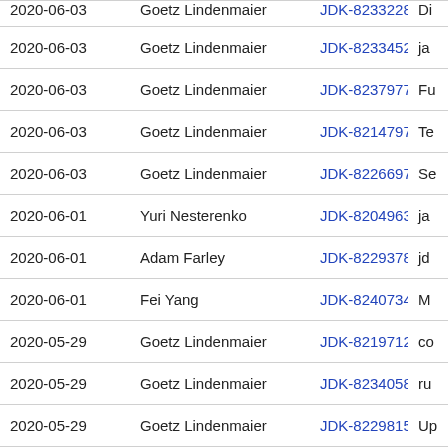| Date | Author | JDK ID | Description |
| --- | --- | --- | --- |
| 2020-06-03 | Goetz Lindenmaier | JDK-8233228 | Di… |
| 2020-06-03 | Goetz Lindenmaier | JDK-8233452 | ja… |
| 2020-06-03 | Goetz Lindenmaier | JDK-8237977 | Fu… |
| 2020-06-03 | Goetz Lindenmaier | JDK-8214797 | Te… |
| 2020-06-03 | Goetz Lindenmaier | JDK-8226697 | Se… |
| 2020-06-01 | Yuri Nesterenko | JDK-8204963 | ja… |
| 2020-06-01 | Adam Farley | JDK-8229378 | jd… |
| 2020-06-01 | Fei Yang | JDK-8240734 | M… |
| 2020-05-29 | Goetz Lindenmaier | JDK-8219712 | co… |
| 2020-05-29 | Goetz Lindenmaier | JDK-8234058 | ru… |
| 2020-05-29 | Goetz Lindenmaier | JDK-8229815 | Up… |
| 2020-05-29 | Goetz Lindenmaier | JDK-8233027 | Oe… |
| 2020-05-29 | Goetz Lindenmaier | JDK-8232083 | M… |
| 2020-05-29 | Goetz Lindenmaier | JDK-8231586 | en… |
| 2020-05-29 | Goetz Lindenmaier | JDK-8224184 | js… |